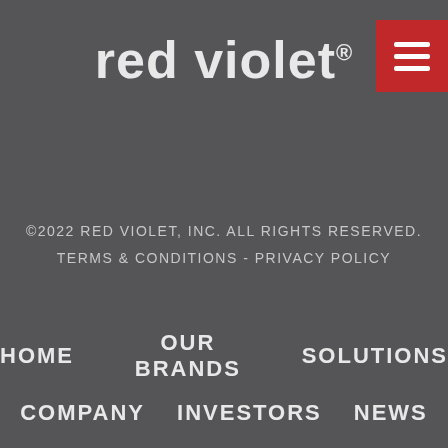[Figure (logo): Red Violet logo — lowercase 'red violet.' text in light grey with registered trademark symbol, on dark charcoal background]
[Figure (other): Red hamburger menu button in top right corner with three white horizontal lines]
©2022 RED VIOLET, INC. ALL RIGHTS RESERVED. TERMS & CONDITIONS - PRIVACY POLICY
HOME
OUR BRANDS
SOLUTIONS
COMPANY
INVESTORS
NEWS